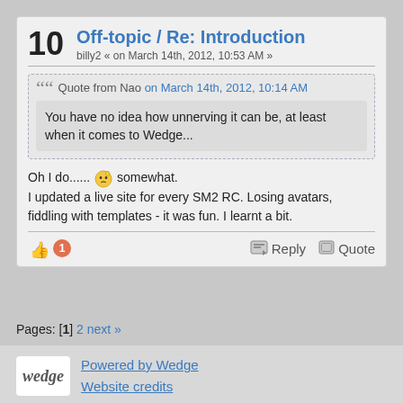10  Off-topic / Re: Introduction
billy2 « on March 14th, 2012, 10:53 AM »
Quote from Nao on March 14th, 2012, 10:14 AM
You have no idea how unnerving it can be, at least when it comes to Wedge...
Oh I do...... [emoji] somewhat.
I updated a live site for every SM2 RC. Losing avatars, fiddling with templates - it was fun. I learnt a bit.
Pages: [1] 2 next »
Powered by Wedge
Website credits
Page created in 0.05 seconds with 31 queries.